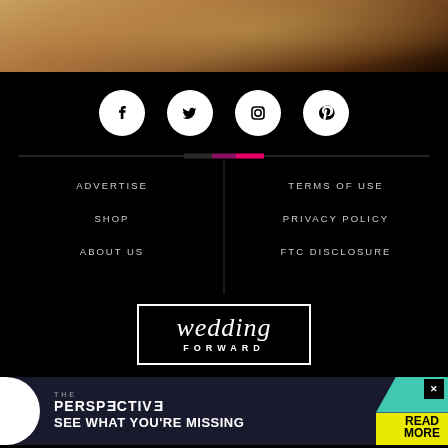[Figure (photo): Rock/stone texture photo strip at top of page]
[Figure (infographic): Social media icons: Facebook, Twitter, Instagram, Pinterest in white circles on black background]
ADVERTISE
TERMS OF USE
SHOP
PRIVACY POLICY
ABOUT US
FTC DISCLOSURE
[Figure (logo): Wedding Forward logo — script 'wedding' above uppercase 'FORWARD' in a white-bordered rectangle]
[Figure (infographic): Ad banner: THE PERSPECTIVE - SEE WHAT YOU'RE MISSING with READ MORE button]